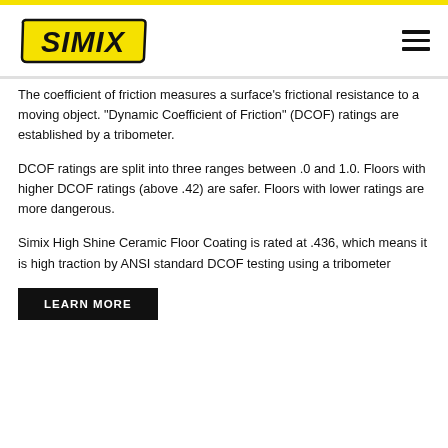SIMIX
The coefficient of friction measures a surface’s frictional resistance to a moving object. “Dynamic Coefficient of Friction” (DCOF) ratings are established by a tribometer.
DCOF ratings are split into three ranges between .0 and 1.0. Floors with higher DCOF ratings (above .42) are safer. Floors with lower ratings are more dangerous.
Simix High Shine Ceramic Floor Coating is rated at .436, which means it is high traction by ANSI standard DCOF testing using a tribometer
LEARN MORE